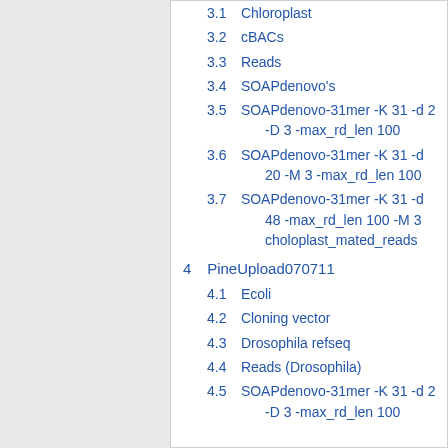3.1 Chloroplast
3.2 cBACs
3.3 Reads
3.4 SOAPdenovo's
3.5 SOAPdenovo-31mer -K 31 -d 2 -D 3 -max_rd_len 100
3.6 SOAPdenovo-31mer -K 31 -d 20 -M 3 -max_rd_len 100
3.7 SOAPdenovo-31mer -K 31 -d 48 -max_rd_len 100 -M 3 choloplast_mated_reads
4  PineUpload070711
4.1 Ecoli
4.2 Cloning vector
4.3 Drosophila refseq
4.4 Reads (Drosophila)
4.5 SOAPdenovo-31mer -K 31 -d 2 -D 3 -max_rd_len 100